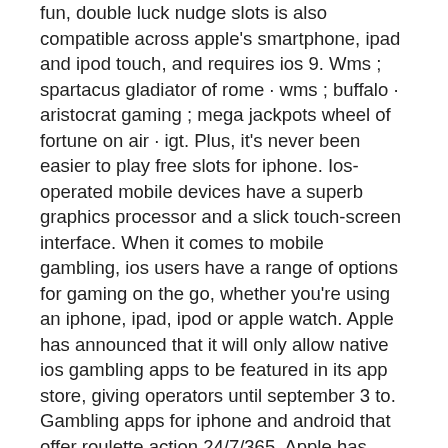fun, double luck nudge slots is also compatible across apple's smartphone, ipad and ipod touch, and requires ios 9. Wms ; spartacus gladiator of rome · wms ; buffalo · aristocrat gaming ; mega jackpots wheel of fortune on air · igt. Plus, it's never been easier to play free slots for iphone. Ios-operated mobile devices have a superb graphics processor and a slick touch-screen interface. When it comes to mobile gambling, ios users have a range of options for gaming on the go, whether you're using an iphone, ipad, ipod or apple watch. Apple has announced that it will only allow native ios gambling apps to be featured in its app store, giving operators until september 3 to. Gambling apps for iphone and android that offer roulette action 24/7/365. Apple has been hit with another class action lawsuit claiming that it profits from illegal gambling apps on the app store. In this article we've put together a list of the best casino dice